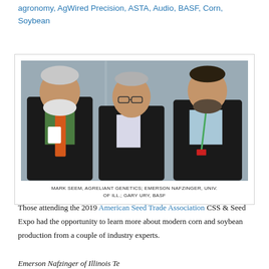agronomy, AgWired Precision, ASTA, Audio, BASF, Corn, Soybean
[Figure (photo): Three men standing together posing for a photo at an indoor event. Left man is large with white beard wearing black jacket and green shirt with orange patterned tie and conference badge. Center man is older wearing dark suit. Right man has beard wearing dark jacket with green conference lanyard.]
MARK SEEM, AGRELIANT GENETICS; EMERSON NAFZINGER, UNIV. OF ILL.; GARY URY, BASF
Those attending the 2019 American Seed Trade Association CSS & Seed Expo had the opportunity to learn more about modern corn and soybean production from a couple of industry experts.
Emerson Nafzinger of Illinois Te...